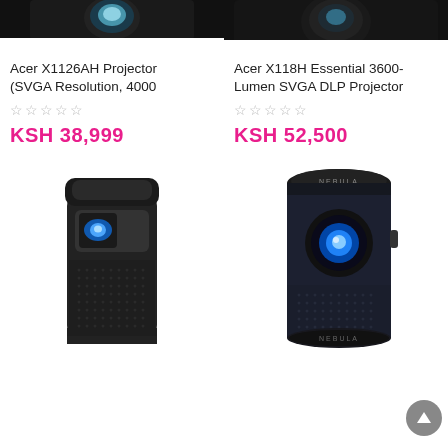[Figure (photo): Top portion of Acer X1126AH projector, black, showing lens area, cropped at top]
[Figure (photo): Top portion of Acer X118H Essential projector, black, showing lens area, cropped at top]
Acer X1126AH Projector (SVGA Resolution, 4000
☆☆☆☆☆
KSH 38,999
Acer X118H Essential 3600-Lumen SVGA DLP Projector
☆☆☆☆☆
KSH 52,500
[Figure (photo): Nebula portable mini projector, black cylindrical shape with blue lens light, Nebula red logo at bottom]
[Figure (photo): Nebula Capsule portable projector, dark cylindrical shape with bright blue lens, Nebula label at bottom, shown at angle]